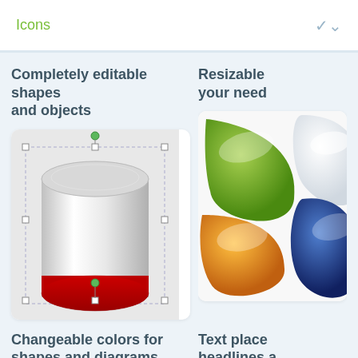Icons
Completely editable shapes and objects
[Figure (illustration): A 3D cylinder shape shown in a vector editing interface with selection handles (green rotation handle, white square handles at corners and midpoints, dashed bounding box). The cylinder has a gray metallic gradient body and a red elliptical bottom.]
Resizable your need
[Figure (illustration): Colorful glossy blob/teardrop shapes in green, blue, orange/yellow, and white arranged together on a white background.]
Changeable colors for shapes and diagrams
Text place headlines a